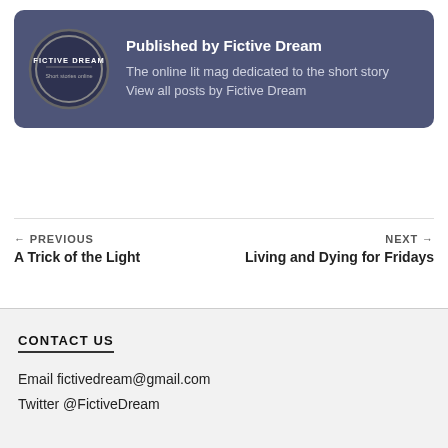[Figure (logo): Fictive Dream circular logo with text 'FICTIVE DREAM Short stories online' on dark background]
Published by Fictive Dream
The online lit mag dedicated to the short story View all posts by Fictive Dream
← PREVIOUS
A Trick of the Light
NEXT →
Living and Dying for Fridays
CONTACT US
Email fictivedream@gmail.com
Twitter @FictiveDream